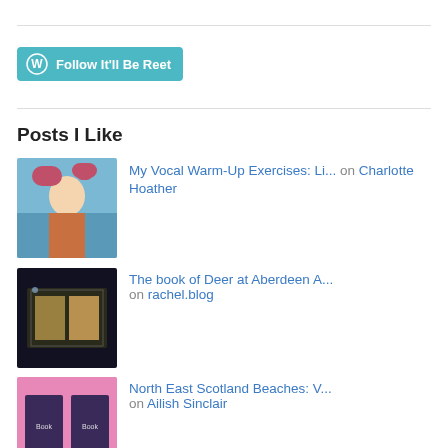[Figure (other): Follow It'll Be Reet button with WordPress icon on teal/cyan background]
Posts I Like
[Figure (photo): Photo of a smiling woman outdoors near water with pink flowers]
My Vocal Warm-Up Exercises: Li... on Charlotte Hoather
[Figure (photo): Photo of an ancient illuminated manuscript (Book of Deer) in a display case]
The book of Deer at Aberdeen A... on rachel.blog
[Figure (photo): Photo of two book covers on a pink sparkly background]
North East Scotland Beaches: V... on Ailish Sinclair